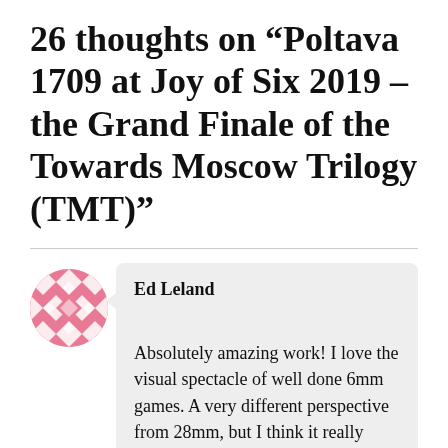26 thoughts on “Poltava 1709 at Joy of Six 2019 – the Grand Finale of the Towards Moscow Trilogy (TMT)”
Ed Leland
Absolutely amazing work! I love the visual spectacle of well done 6mm games. A very different perspective from 28mm, but I think it really works